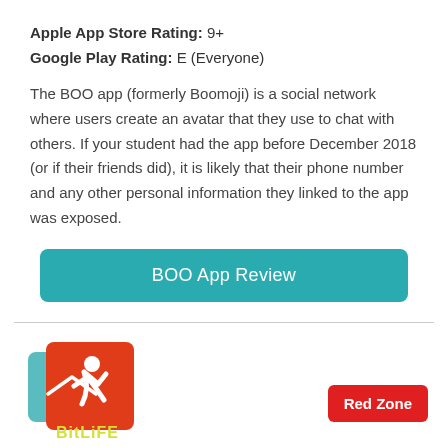Apple App Store Rating:  9+
Google Play Rating:   E (Everyone)
The BOO app (formerly Boomoji) is a social network where users create an avatar that they use to chat with others. If your student had the app before December 2018 (or if their friends did), it is likely that their phone number and any other personal information they linked to the app was exposed.
[Figure (other): Teal rounded rectangle button labeled 'BOO App Review']
[Figure (logo): BitLife app logo — orange square background with teal square overlap and white runner figure, yellow 'BitLiFE' text at bottom]
Red Zone